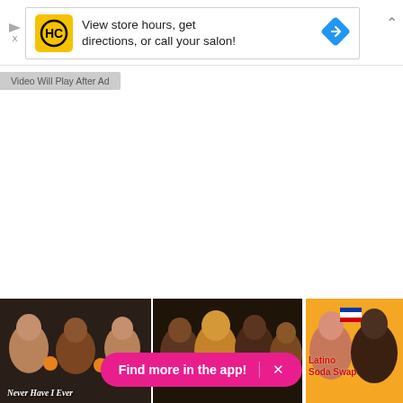[Figure (screenshot): Ad banner: HC salon logo with yellow background, text 'View store hours, get directions, or call your salon!' and blue diamond navigation icon]
Video Will Play After Ad
[Figure (screenshot): Three video thumbnails at bottom: 'Never Have I Ever' show with people, middle thumbnail with group of people, 'Latino Soda Swap' thumbnail with orange background and people]
Find more in the app!